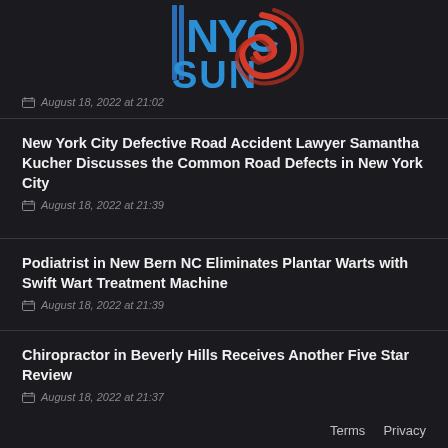[Figure (logo): NYC Sun logo with blue text and red swirl graphic]
August 18, 2022 at 21:02
New York City Defective Road Accident Lawyer Samantha Kucher Discusses the Common Road Defects in New York City
August 18, 2022 at 21:39
Podiatrist in New Bern NC Eliminates Plantar Warts with Swift Wart Treatment Machine
August 18, 2022 at 21:39
Chiropractor in Beverly Hills Receives Another Five Star Review
August 18, 2022 at 21:37
Terms   Privacy